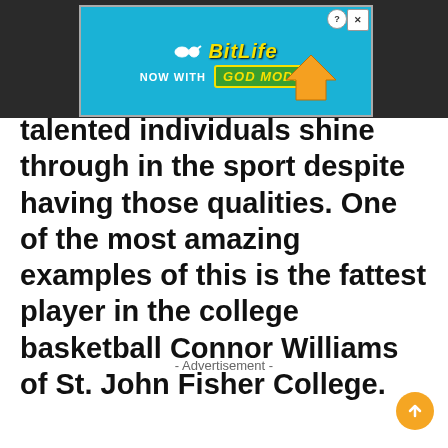[Figure (screenshot): BitLife advertisement banner with 'NOW WITH GOD MODE' text on a teal background, with a pointing hand graphic and close/help buttons]
talented individuals shine through in the sport despite having those qualities. One of the most amazing examples of this is the fattest player in the college basketball Connor Williams of St. John Fisher College.
- Advertisement -